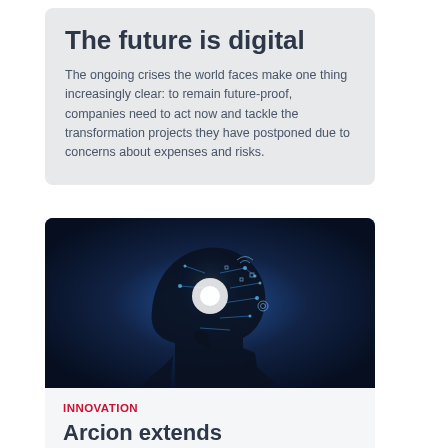The future is digital
The ongoing crises the world faces make one thing increasingly clear: to remain future-proof, companies need to act now and tackle the transformation projects they have postponed due to concerns about expenses and risks.
[Figure (photo): Silhouette of a person thinking with digital technology icons and blue glowing light overlaid on their head, representing digital innovation and AI]
INNOVATION
Arcion extends